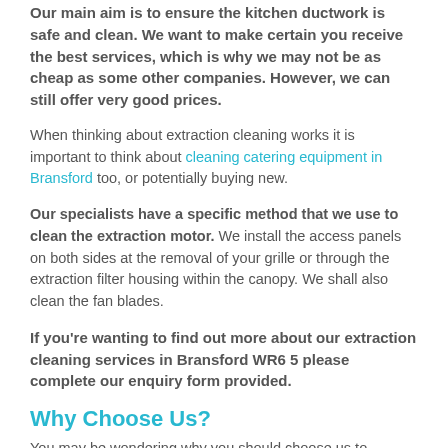Our main aim is to ensure the kitchen ductwork is safe and clean. We want to make certain you receive the best services, which is why we may not be as cheap as some other companies. However, we can still offer very good prices.
When thinking about extraction cleaning works it is important to think about cleaning catering equipment in Bransford too, or potentially buying new.
Our specialists have a specific method that we use to clean the extraction motor. We install the access panels on both sides at the removal of your grille or through the extraction filter housing within the canopy. We shall also clean the fan blades.
If you're wanting to find out more about our extraction cleaning services in Bransford WR6 5 please complete our enquiry form provided.
Why Choose Us?
You may be wondering why you should choose us to complete